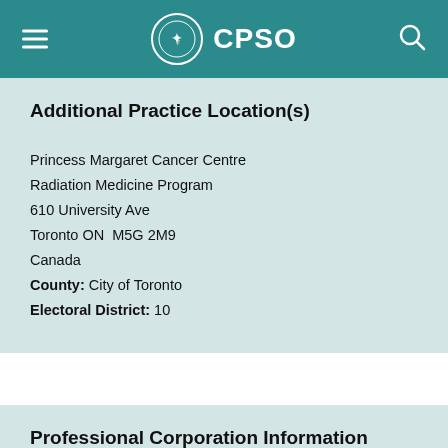CPSO
Additional Practice Location(s)
Princess Margaret Cancer Centre
Radiation Medicine Program
610 University Ave
Toronto ON  M5G 2M9
Canada
County: City of Toronto
Electoral District: 10
Professional Corporation Information